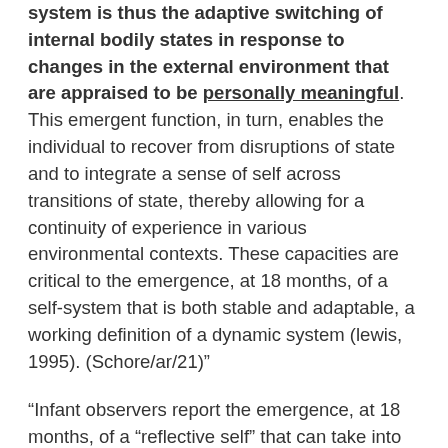system is thus the adaptive switching of internal bodily states in response to changes in the external environment that are appraised to be personally meaningful.  This emergent function, in turn, enables the individual to recover from disruptions of state and to integrate a sense of self across transitions of state, thereby allowing for a continuity of experience in various environmental contexts.  These capacities are critical to the emergence, at 18 months, of a self-system that is both stable and adaptable, a working definition of a dynamic system (lewis, 1995).  (Schore/ar/21)"
“Infant observers report the emergence, at 18 months, of a “reflective self” that can take into account one’s own and others’ mental states (Fonagy, Steele, Steele, Moran, & Higgitt, 1991).  In the course of the second year the infant acquires